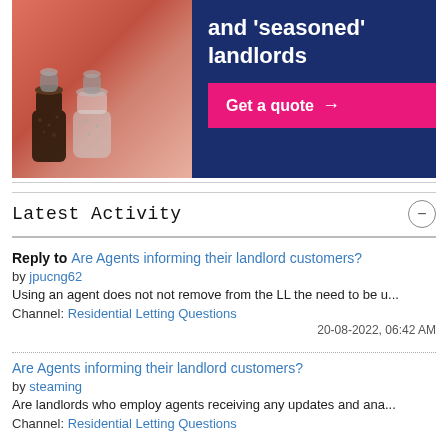[Figure (photo): Advertisement banner showing salt and pepper shakers on a red checkered tablecloth, with navy blue background text reading 'and seasoned landlords' and a pink 'Get a quote' button with arrow]
Latest Activity
Reply to Are Agents informing their landlord customers? by jpucng62. Using an agent does not not remove from the LL the need to be u... Channel: Residential Letting Questions. 20-08-2022, 06:42 AM
Are Agents informing their landlord customers? by steaming. Are landlords who employ agents receiving any updates and ana... Channel: Residential Letting Questions